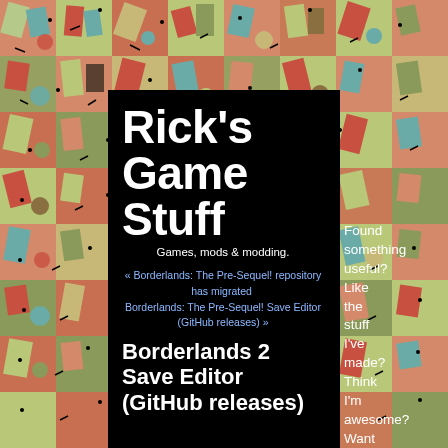[Figure (illustration): Colorful abstract patterned background with letters and geometric shapes in red, green, teal, yellow, and cream colors]
Rick's Game Stuff
Games, mods & modding.
« Borderlands: The Pre-Sequel! repository has migrated Borderlands: The Pre-Sequel! Save Editor (GitHub releases) »
Borderlands 2 Save Editor (GitHub releases)
Found something useful? Like the stuff I've made? Think I'm awesome? Want